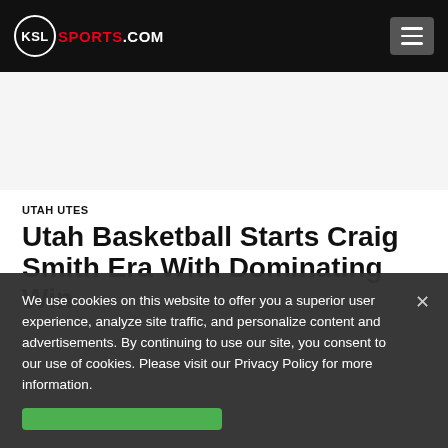KSL SPORTS.COM
[Figure (other): Advertisement/white space area]
UTAH UTES
Utah Basketball Starts Craig Smith Era With Dominating Win
We use cookies on this website to offer you a superior user experience, analyze site traffic, and personalize content and advertisements. By continuing to use our site, you consent to our use of cookies. Please visit our Privacy Policy for more information.